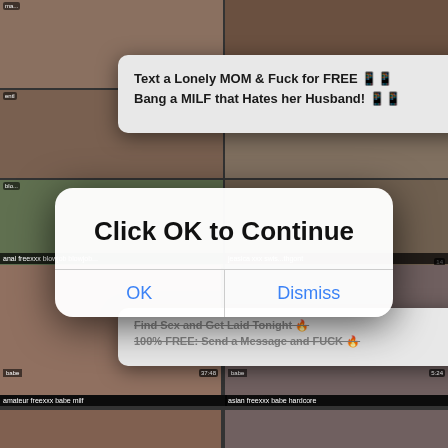[Figure (screenshot): Background grid of explicit adult video thumbnails with labels and timestamps. Top-left partial thumbnails, middle rows with labels 'anal freexxx blowjob', 'jeasica xxx', bottom row with 'amateur freexxx babe milf' (37:48), 'asian freexxx babe hardcore' (5:24), and partial bottom row.]
[Figure (screenshot): Pop-up advertisement box: 'Text a Lonely MOM & Fuck for FREE [emoji] Bang a MILF that Hates her Husband! [emoji]' with X close button.]
[Figure (screenshot): Second pop-up advertisement: 'Find Sex and Get Laid Tonight [emoji] 100% FREE: Send a Message and FUCK [emoji]' with X close button, partially obscured.]
[Figure (screenshot): Modal dialog overlay: 'Click OK to Continue' with OK and Dismiss buttons.]